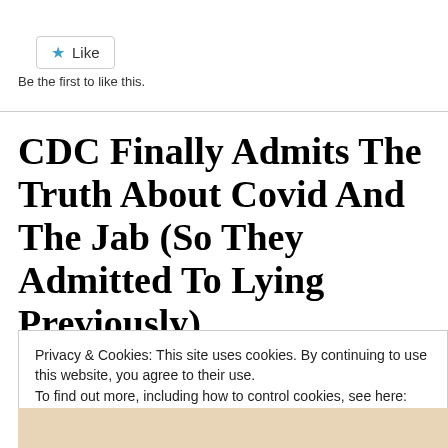[Figure (other): Like button with star icon and border]
Be the first to like this.
CDC Finally Admits The Truth About Covid And The Jab (So They Admitted To Lying Previously)
Privacy & Cookies: This site uses cookies. By continuing to use this website, you agree to their use.
To find out more, including how to control cookies, see here: Cookie Policy
Close and accept